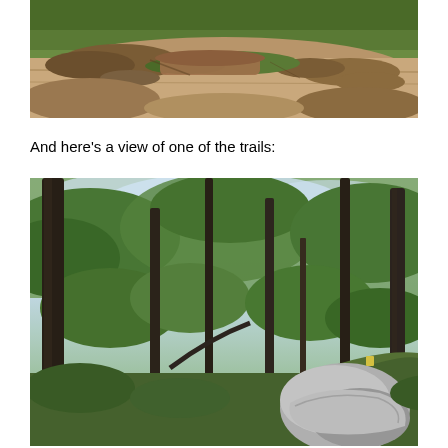[Figure (photo): Panoramic view of rocky terrain with sandstone rock outcroppings, sparse grass and vegetation growing in crevices, brown and orange colored flat rocks]
And here’s a view of one of the trails:
[Figure (photo): Forest trail scene with tall thin tree trunks, lush green leafy canopy, bright sky visible through trees, and a large grey boulder in the foreground right side of the image]